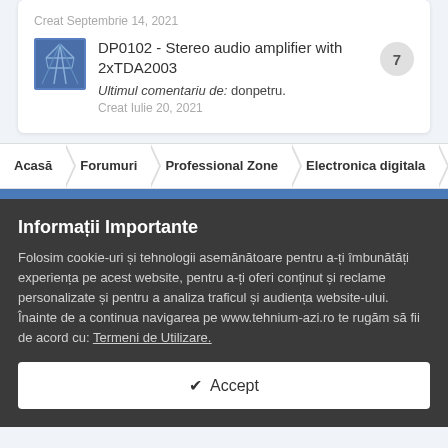Creat Septembrie 14, 2021
DP0102 - Stereo audio amplifier with 2xTDA2003
Ultimul comentariu de: donpetru.
Creat Iulie 20, 2021
Acasă > Forumuri > Professional Zone > Electronica digitala > Micr...
Informații Importante
Folosim cookie-uri și tehnologii asemănătoare pentru a-ți îmbunătăți experiența pe acest website, pentru a-ți oferi conținut și reclame personalizate și pentru a analiza traficul și audiența website-ului. Înainte de a continua navigarea pe www.tehnium-azi.ro te rugăm să fii de acord cu: Termeni de Utilizare.
✔ Accept